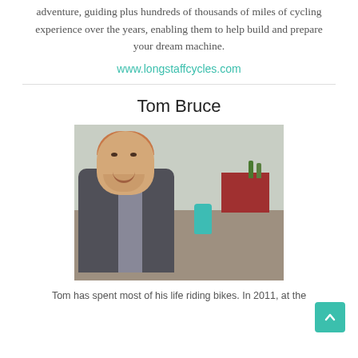adventure, guiding plus hundreds of thousands of miles of cycling experience over the years, enabling them to help build and prepare your dream machine.
www.longstaffcycles.com
Tom Bruce
[Figure (photo): Photo of Tom Bruce, a young man with short reddish-blond hair and light stubble, wearing a grey jacket, sitting inside a tent. In the background there is a red table with bottles and a teal thermos.]
Tom has spent most of his life riding bikes. In 2011, at the